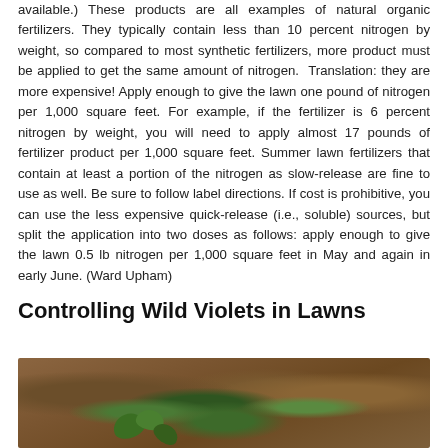available.) These products are all examples of natural organic fertilizers. They typically contain less than 10 percent nitrogen by weight, so compared to most synthetic fertilizers, more product must be applied to get the same amount of nitrogen. Translation: they are more expensive! Apply enough to give the lawn one pound of nitrogen per 1,000 square feet. For example, if the fertilizer is 6 percent nitrogen by weight, you will need to apply almost 17 pounds of fertilizer product per 1,000 square feet. Summer lawn fertilizers that contain at least a portion of the nitrogen as slow-release are fine to use as well. Be sure to follow label directions. If cost is prohibitive, you can use the less expensive quick-release (i.e., soluble) sources, but split the application into two doses as follows: apply enough to give the lawn 0.5 lb nitrogen per 1,000 square feet in May and again in early June. (Ward Upham)
Controlling Wild Violets in Lawns
[Figure (photo): Close-up photograph of wild violet seedlings growing in soil among dead leaves and organic matter. Small green heart-shaped leaves are visible against a brown soil and leaf litter background.]